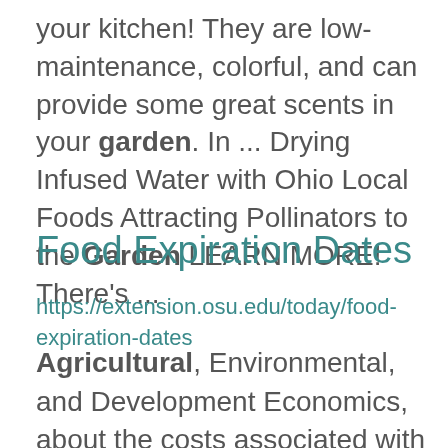your kitchen! They are low-maintenance, colorful, and can provide some great scents in your garden. In ... Drying Infused Water with Ohio Local Foods Attracting Pollinators to the Garden LEARN MORE! There's ...
Food Expiration Dates
https://extension.osu.edu/today/food-expiration-dates
Agricultural, Environmental, and Development Economics, about the costs associated with mis-interpreting the ...  by the United States Department of Agriculture's Food Safety and Inspection